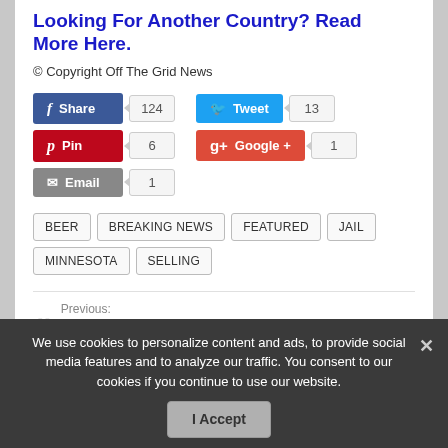Looking For Another Country? Read More Here.
© Copyright Off The Grid News
Share 124 | Tweet 13 | Pin 6 | Google + 1 | Email 1
BEER
BREAKING NEWS
FEATURED
JAIL
MINNESOTA
SELLING
Previous: 5 'Get Ready For Spring' Chores You Better Do Before Winter Ends
Next:
We use cookies to personalize content and ads, to provide social media features and to analyze our traffic. You consent to our cookies if you continue to use our website.
I Accept